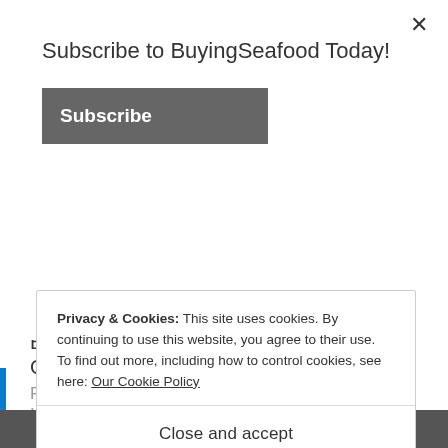Subscribe to BuyingSeafood Today!
Subscribe
Barber Foods Scallop & Lobster Stuffed Chicken Breast Review
February 6, 2017
In "Choosing Seafood"
Privacy & Cookies: This site uses cookies. By continuing to use this website, you agree to their use.
To find out more, including how to control cookies, see here: Our Cookie Policy
Close and accept